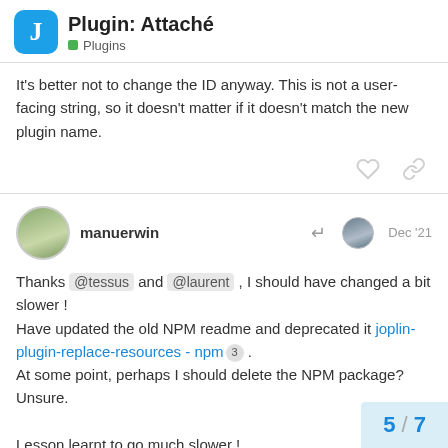Plugin: Attaché — Plugins
It's better not to change the ID anyway. This is not a user-facing string, so it doesn't matter if it doesn't match the new plugin name.
manuerwin — Dec '21
Thanks @tessus and @laurent , I should have changed a bit slower !
Have updated the old NPM readme and deprecated it joplin-plugin-replace-resources - npm 3 .
At some point, perhaps I should delete the NPM package? Unsure.

Lesson learnt to go much slower !
5 / 7